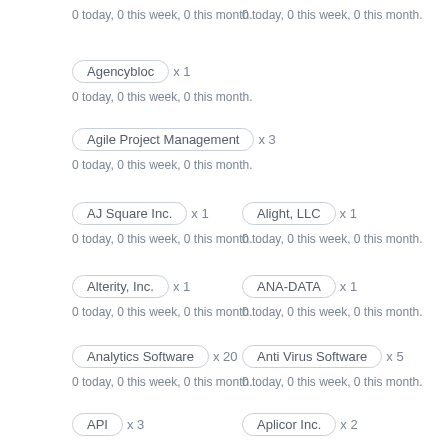0 today, 0 this week, 0 this month.
0 today, 0 this week, 0 this month.
Agencybloc x 1
0 today, 0 this week, 0 this month.
Agile Project Management x 3
0 today, 0 this week, 0 this month.
AJ Square Inc. x 1
Alight, LLC x 1
0 today, 0 this week, 0 this month.
0 today, 0 this week, 0 this month.
Alterity, Inc. x 1
ANA-DATA x 1
0 today, 0 this week, 0 this month.
0 today, 0 this week, 0 this month.
Analytics Software x 20
Anti Virus Software x 5
0 today, 0 this week, 0 this month.
0 today, 0 this week, 0 this month.
API x 3
Aplicor Inc. x 2
0 today, 0 this week, 0 this month.
0 today, 0 this week, 0 this month.